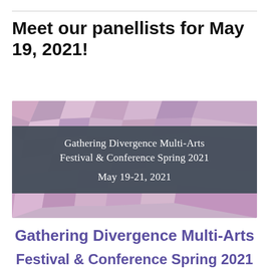Meet our panellists for May 19, 2021!
[Figure (illustration): Banner image for Gathering Divergence Multi-Arts Festival & Conference Spring 2021, May 19-21, 2021. Features a geometric mosaic background in pink and purple tones with a dark grey overlay containing white text.]
Gathering Divergence Multi-Arts
Festival & Conference Spring 2021